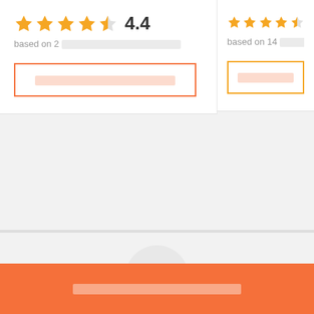[Figure (infographic): Star rating display showing 4 filled orange stars, 1 half star, and rating number 4.4]
based on 2 [redacted text]
[redacted button text] - outline button
[Figure (infographic): Star rating display showing 4 filled orange stars and 1 half star (right card, partially visible), based on 14 [redacted]]
based on 14 [redacted text]
[redacted button text] - outline button
[Figure (other): Ad badge - circular grey badge with 'Ad' label in a rounded rectangle]
[redacted bottom bar text]